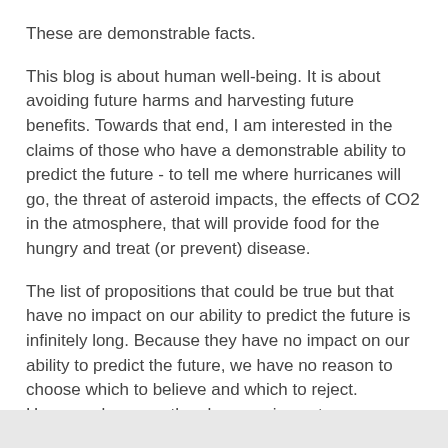These are demonstrable facts.
This blog is about human well-being. It is about avoiding future harms and harvesting future benefits. Towards that end, I am interested in the claims of those who have a demonstrable ability to predict the future - to tell me where hurricanes will go, the threat of asteroid impacts, the effects of CO2 in the atmosphere, that will provide food for the hungry and treat (or prevent) disease.
The list of propositions that could be true but that have no impact on our ability to predict the future is infinitely long. Because they have no impact on our ability to predict the future, we have no reason to choose which to believe and which to reject. However, because they have no impact on our ability to predict the future they just do not matter.
I may not be able to prove that any of them are false. But I can certainly prove that I have no good reason to care one way or the other.